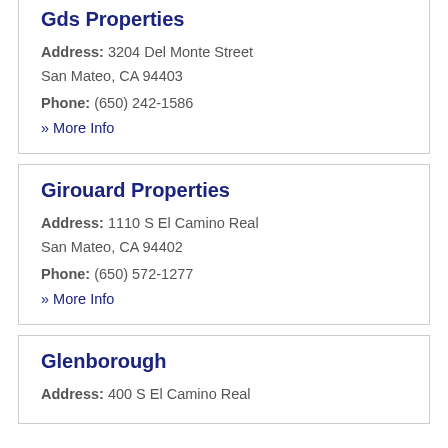Gds Properties
Address: 3204 Del Monte Street San Mateo, CA 94403
Phone: (650) 242-1586
» More Info
Girouard Properties
Address: 1110 S El Camino Real San Mateo, CA 94402
Phone: (650) 572-1277
» More Info
Glenborough
Address: 400 S El Camino Real